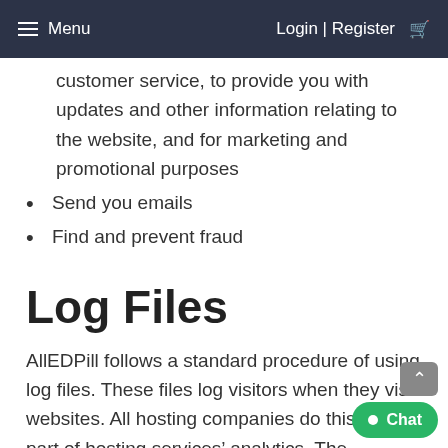Menu   Login | Register
customer service, to provide you with updates and other information relating to the website, and for marketing and promotional purposes
Send you emails
Find and prevent fraud
Log Files
AllEDPill follows a standard procedure of using log files. These files log visitors when they visit websites. All hosting companies do this and a part of hosting services' analytics. The information collected by log files include internet protocol (IP) addresses, browser type, Internet Service Provider (ISP), date